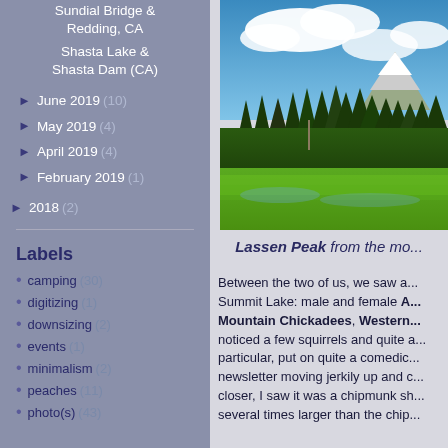Sundial Bridge & Redding, CA
Shasta Lake & Shasta Dam (CA)
► June 2019 (10)
► May 2019 (4)
► April 2019 (4)
► February 2019 (1)
► 2018 (2)
Labels
camping (30)
digitizing (1)
downsizing (2)
events (1)
minimalism (2)
peaches (11)
photo(s) (43)
[Figure (photo): Photo of Lassen Peak with blue sky, clouds, snow-capped mountain, conifer forest, and green meadow]
Lassen Peak from the mo...
Between the two of us, we saw a... Summit Lake: male and female A... Mountain Chickadees, Western... noticed a few squirrels and quite a... particular, put on quite a comedic... newsletter moving jerkily up and c... closer, I saw it was a chipmunk sh... several times larger than the chip...